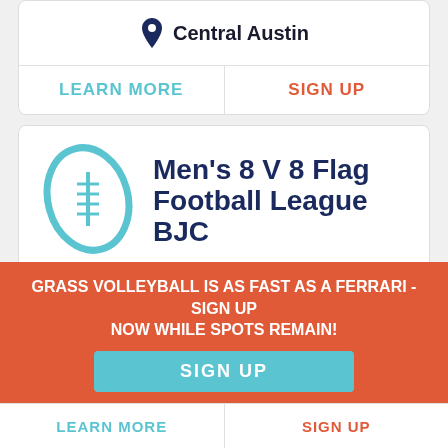Central Austin
LEARN MORE
SIGN UP
Men's 8 V 8 Flag Football League BJC
TUE
STARTS
09/13
Teams $1045 | Individuals $105
GRASS VOLLEYBALL IS AS FAST AS A FERRARI - SIGN UP NOW WHILE SPOTS REMAIN!
SIGN UP
LEARN MORE
SIGN UP